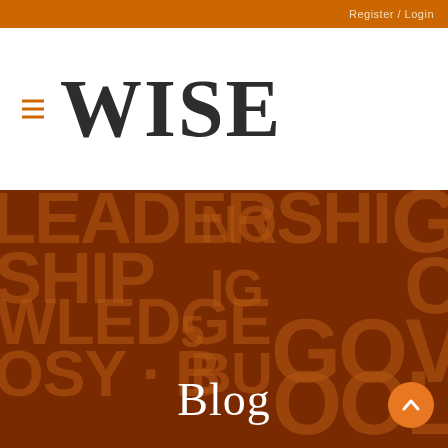Register / Login
WISE
[Figure (illustration): Dark brown hero banner with large semi-transparent watermark words in the background (LEADERSHIP, KNOWLEDGE, TECHNOLOGY, etc.) forming a word cloud pattern]
Blog